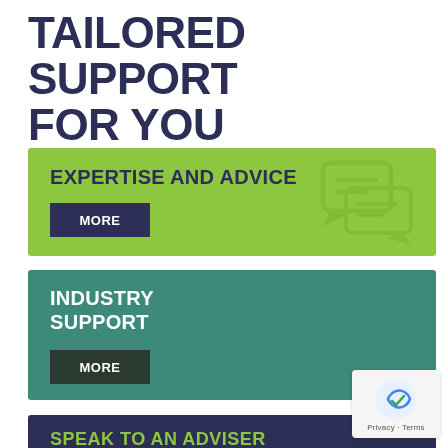TAILORED SUPPORT FOR YOU
[Figure (infographic): Green banner card with heading EXPERTISE AND ADVICE and a MORE button, plus chat bubble icon]
[Figure (infographic): Teal banner card with heading INDUSTRY SUPPORT and a MORE button, plus info (i) circle icon]
[Figure (infographic): Dark navy banner card (partially visible) with heading SPEAK TO AN ADVISER in green text]